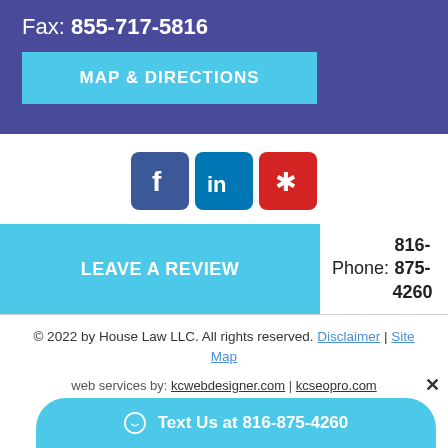Fax: 855-717-5816
MAP & DIRECTIONS
[Figure (logo): Social media icons: Facebook (blue), LinkedIn (blue), Yelp (red)]
LEAVE A REVIEW
Phone: 816-875-4260
© 2022 by House Law LLC. All rights reserved. Disclaimer | Site Map
web services by: kcwebdesigner.com | kcseopro.com
Text Us at 816-875-4260